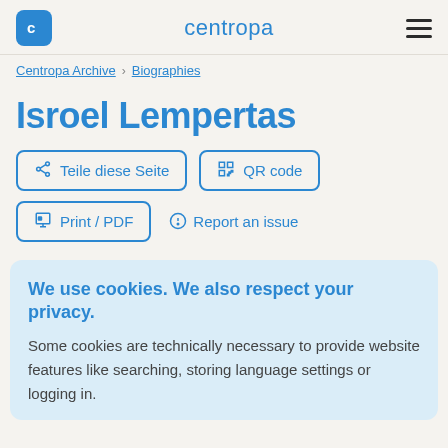centropa
Centropa Archive > Biographies
Isroel Lempertas
Teile diese Seite
QR code
Print / PDF
Report an issue
We use cookies. We also respect your privacy.
Some cookies are technically necessary to provide website features like searching, storing language settings or logging in.